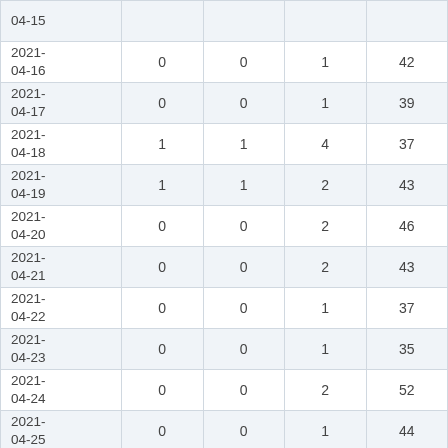| date | col1 | col2 | col3 | col4 |
| --- | --- | --- | --- | --- |
| 2021-04-15 (partial) |  |  |  |  |
| 2021-04-16 | 0 | 0 | 1 | 42 |
| 2021-04-17 | 0 | 0 | 1 | 39 |
| 2021-04-18 | 1 | 1 | 4 | 37 |
| 2021-04-19 | 1 | 1 | 2 | 43 |
| 2021-04-20 | 0 | 0 | 2 | 46 |
| 2021-04-21 | 0 | 0 | 2 | 43 |
| 2021-04-22 | 0 | 0 | 1 | 37 |
| 2021-04-23 | 0 | 0 | 1 | 35 |
| 2021-04-24 | 0 | 0 | 2 | 52 |
| 2021-04-25 | 0 | 0 | 1 | 44 |
| 2021-04-26 (partial) | 0 | 0 | 1 | 34 |